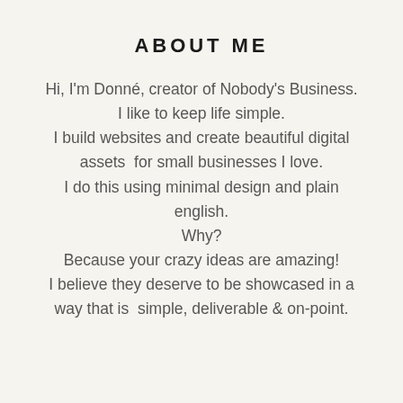ABOUT ME
Hi, I'm Donné, creator of Nobody's Business.
I like to keep life simple.
I build websites and create beautiful digital assets  for small businesses I love.
I do this using minimal design and plain english.
Why?
Because your crazy ideas are amazing!
I believe they deserve to be showcased in a way that is  simple, deliverable & on-point.